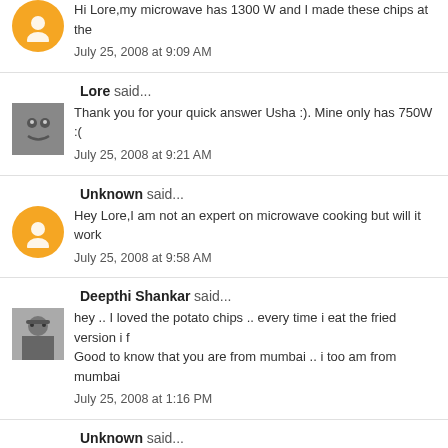Hi Lore,my microwave has 1300 W and I made these chips at the
July 25, 2008 at 9:09 AM
Lore said...
Thank you for your quick answer Usha :). Mine only has 750W :(
July 25, 2008 at 9:21 AM
Unknown said...
Hey Lore,I am not an expert on microwave cooking but will it work
July 25, 2008 at 9:58 AM
Deepthi Shankar said...
hey .. I loved the potato chips .. every time i eat the fried version i f
Good to know that you are from mumbai .. i too am from mumbai
July 25, 2008 at 1:16 PM
Unknown said...
Hi Vegetable Platter,Thanks for dropping by,Good to "meet" a fello touch.